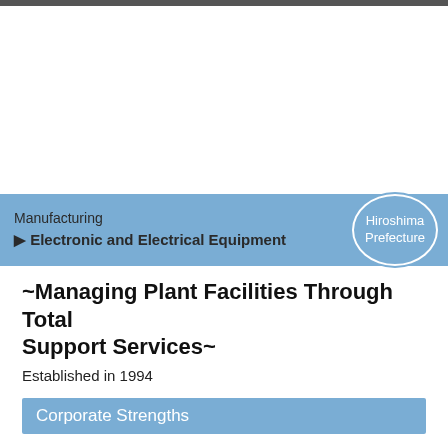[Figure (photo): White/blank image area at the top of the page, representing a company or facility photo placeholder.]
Manufacturing
▶ Electronic and Electrical Equipment
Hiroshima Prefecture
~Managing Plant Facilities Through Total Support Services~
Established in 1994
Corporate Strengths
SHINKAWA Sensor Technology, based in Higashihiroshima, develops proprietary sensors that detect vibration. We contribute to the maintenance of essential utilities, such as electric, gas, and